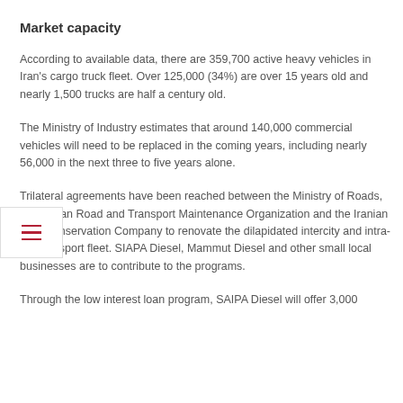Market capacity
According to available data, there are 359,700 active heavy vehicles in Iran's cargo truck fleet. Over 125,000 (34%) are over 15 years old and nearly 1,500 trucks are half a century old.
The Ministry of Industry estimates that around 140,000 commercial vehicles will need to be replaced in the coming years, including nearly 56,000 in the next three to five years alone.
Trilateral agreements have been reached between the Ministry of Roads, the Iranian Road and Transport Maintenance Organization and the Iranian Fuel Conservation Company to renovate the dilapidated intercity and intra-city transport fleet. SIAPA Diesel, Mammut Diesel and other small local businesses are to contribute to the programs.
Through the low interest loan program, SAIPA Diesel will offer 3,000...